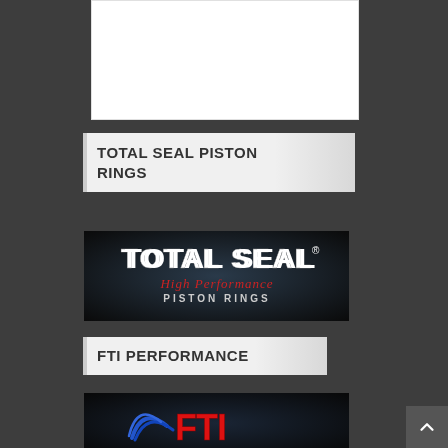[Figure (other): Partial white card/content area at top, cut off]
TOTAL SEAL PISTON RINGS
[Figure (logo): Total Seal High Performance Piston Rings logo on dark background]
FTI PERFORMANCE
[Figure (logo): FTI Performance logo on dark background, partially visible]